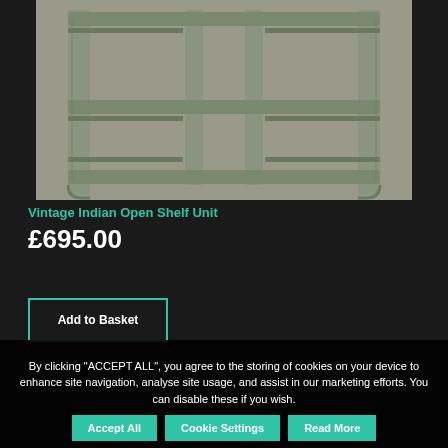[Figure (photo): Vintage Indian wooden open shelf unit with grey/green wash finish, three compartments, two shelves, decorative carved legs, photographed against a grey background.]
Vintage Indian Open Shelf Unit
£695.00
Add to Basket
By clicking "ACCEPT ALL", you agree to the storing of cookies on your device to enhance site navigation, analyse site usage, and assist in our marketing efforts. You can disable these if you wish.
Accept All
Cookie Settings
Read More